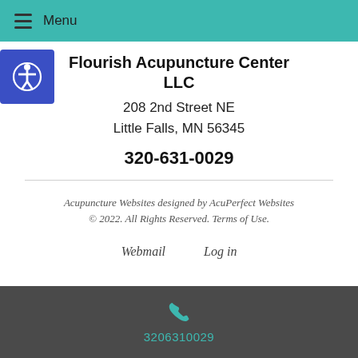≡ Menu
Flourish Acupuncture Center LLC
208 2nd Street NE
Little Falls, MN 56345
320-631-0029
Acupuncture Websites designed by AcuPerfect Websites © 2022. All Rights Reserved. Terms of Use.
Webmail    Log in
3206310029